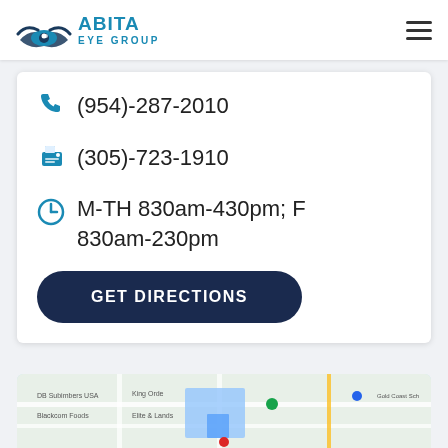[Figure (logo): Abita Eye Group logo with eye and hands graphic icon, teal/blue colors]
(954)-287-2010
(305)-723-1910
M-TH 830am-430pm; F 830am-230pm
GET DIRECTIONS
[Figure (map): Google Maps screenshot showing local area map]